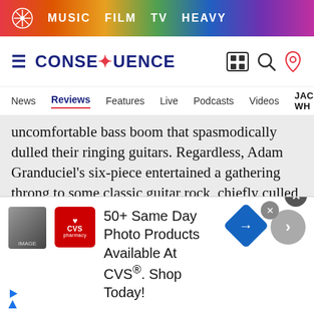MUSIC  FILM  TV  HEAVY
[Figure (logo): Consequence of Sound logo with navigation icons (hamburger, film, search, tag)]
[Figure (screenshot): Secondary navigation bar with: News, Reviews (active/underlined), Features, Live, Podcasts, Videos, JACK WH...]
uncomfortable bass boom that spasmodically dulled their ringing guitars. Regardless, Adam Granduciel’s six-piece entertained a gathering throng to some classic guitar rock, chiefly culled from their recent Top Rated album, Lost in the Dream. The atmospheric, drawn-out “Under the Pressure” and emotional bruiser “Red Eyes” especially hit the spot with 2011 breakthrough song “Come to the City” pro...
[Figure (screenshot): CVS Pharmacy advertisement: '50+ Same Day Photo Products Available At CVS®. Shop Today!' with CVS logo and navigation icon]